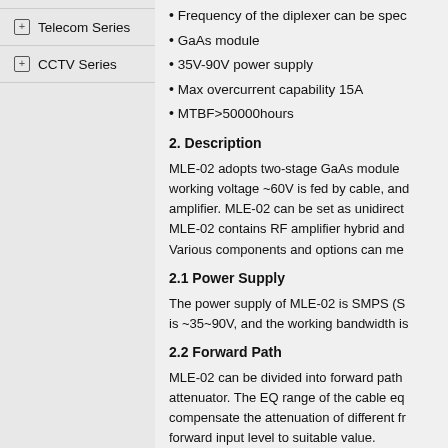Telecom Series
CCTV Series
Frequency of the diplexer can be spec...
GaAs module
35V-90V power supply
Max overcurrent capability 15A
MTBF>50000hours
2. Description
MLE-02 adopts two-stage GaAs module working voltage ~60V is fed by cable, and amplifier. MLE-02 can be set as unidirect... MLE-02 contains RF amplifier hybrid and Various components and options can me...
2.1 Power Supply
The power supply of MLE-02 is SMPS (S... is ~35~90V, and the working bandwidth is...
2.2 Forward Path
MLE-02 can be divided into forward path attenuator. The EQ range of the cable eq... compensate the attenuation of different fr... forward input level to suitable value.